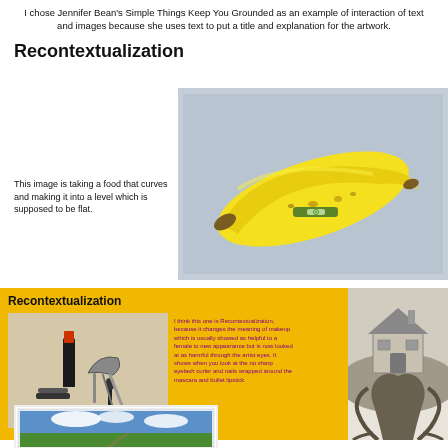I chose Jennifer Bean's Simple Things Keep You Grounded as an example of interaction of text and images because she uses text to put a title and explanation for the artwork.
Recontextualization
This image is taking a food that curves and making it into a level which is supposed to be flat.
[Figure (photo): A yellow banana with a spirit level attached to it, placed on a grey background.]
[Figure (infographic): Yellow card titled Recontextualization containing a photo of makeup items (lipstick, eyelash curler, mascara) and purple explanatory text.]
[Figure (photo): Black and white photo of a house perched on top of large tree roots.]
[Figure (photo): Landscape photograph showing blue sky, clouds, and green fields, displayed as a Polaroid-style photo.]